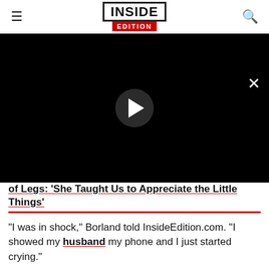INSIDE EDITION
[Figure (screenshot): Black video player area with a circular play button in the center and a close (X) button in the upper right]
of Legs: 'She Taught Us to Appreciate the Little Things'
"I was in shock," Borland told InsideEdition.com. "I showed my husband my phone and I just started crying."